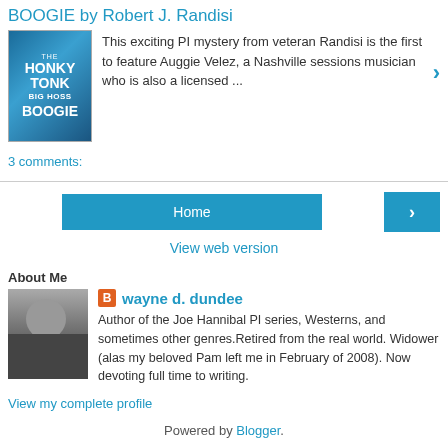BOOGIE by Robert J. Randisi
[Figure (illustration): Book cover for 'The Honky Tonk Big Hoss Boogie' with blue city skyline background]
This exciting PI mystery from veteran Randisi is the first to feature Auggie Velez, a Nashville sessions musician who is also a licensed ...
3 comments:
Home
View web version
About Me
[Figure (photo): Black and white photo of a man with beard]
wayne d. dundee
Author of the Joe Hannibal PI series, Westerns, and sometimes other genres.Retired fromthe real world. Widower (alas my beloved Pam left me in February of 2008). Now devoting full time to writing.
View my complete profile
Powered by Blogger.